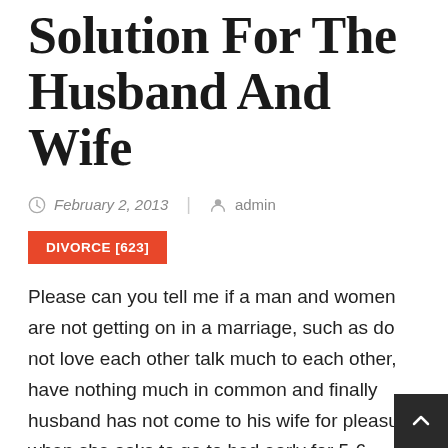Solution For The Husband And Wife
February 2, 2013 | admin
DIVORCE [623]
Please can you tell me if a man and women are not getting on in a marriage, such as do not love each other talk much to each other, have nothing much in common and finally husband has not come to his wife for pleasure when she asks to go to bed early for 5-6 months and now the wife feels no love for him. Liv with husbands parents who are quite unreasonable with couple. Making married life harder to be